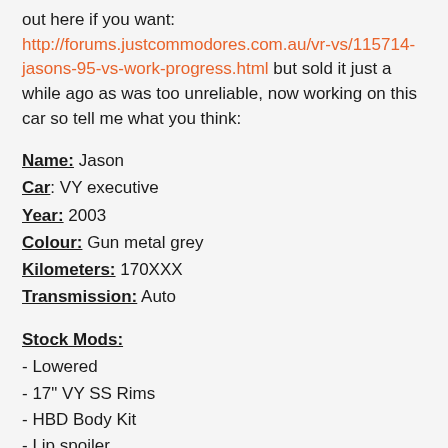out here if you want: http://forums.justcommodores.com.au/vr-vs/115714-jasons-95-vs-work-progress.html but sold it just a while ago as was too unreliable, now working on this car so tell me what you think:
Name: Jason
Car: VY executive
Year: 2003
Colour: Gun metal grey
Kilometers: 170XXX
Transmission: Auto
Stock Mods:
- Lowered
- 17" VY SS Rims
- HBD Body Kit
- Lip spoiler
- Tinted Windows
Mods: